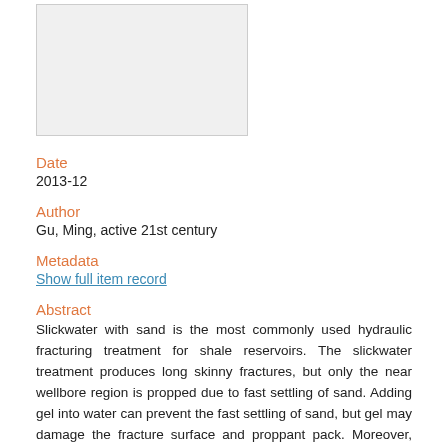[Figure (other): Thumbnail image placeholder, light gray rectangle with border]
Date
2013-12
Author
Gu, Ming, active 21st century
Metadata
Show full item record
Abstract
Slickwater with sand is the most commonly used hydraulic fracturing treatment for shale reservoirs. The slickwater treatment produces long skinny fractures, but only the near wellbore region is propped due to fast settling of sand. Adding gel into water can prevent the fast settling of sand, but gel may damage the fracture surface and proppant pack. Moreover, current water-based fracturing consumes a large amount of water, has high water